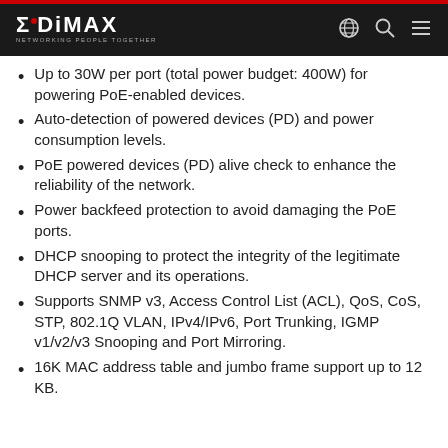EDIMAX — NETWORKING PEOPLE TOGETHER
Up to 30W per port (total power budget: 400W) for powering PoE-enabled devices.
Auto-detection of powered devices (PD) and power consumption levels.
PoE powered devices (PD) alive check to enhance the reliability of the network.
Power backfeed protection to avoid damaging the PoE ports.
DHCP snooping to protect the integrity of the legitimate DHCP server and its operations.
Supports SNMP v3, Access Control List (ACL), QoS, CoS, STP, 802.1Q VLAN, IPv4/IPv6, Port Trunking, IGMP v1/v2/v3 Snooping and Port Mirroring.
16K MAC address table and jumbo frame support up to 12 KB.